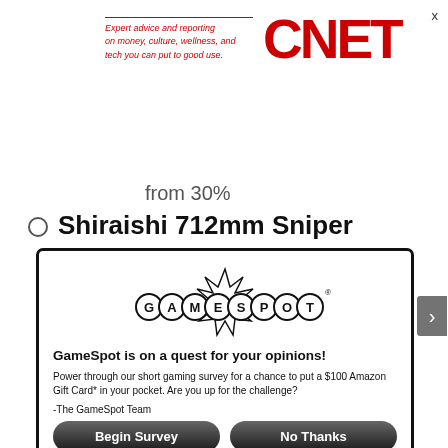[Figure (logo): CNET logo with red text and italic tagline: Expert advice and reporting on money, culture, wellness, and tech you can put to good use.]
from 30%
Shiraishi 712mm Sniper
[Figure (logo): GameSpot logo in black and white with spiky burst graphic]
GameSpot is on a quest for your opinions!
Power through our short gaming survey for a chance to put a $100 Amazon Gift Card* in your pocket.  Are you up for the challenge?
-The GameSpot Team
[Figure (other): Begin Survey button - dark rounded rectangle button]
[Figure (other): No Thanks button - dark rounded rectangle button]
When you reply to this survey, you acknowledge that Red Ventures collects your personal data in accordance with the Red Ventures privacy policy
For sweepstakes rules, see here.
Contact us about this survey.
from 0.94